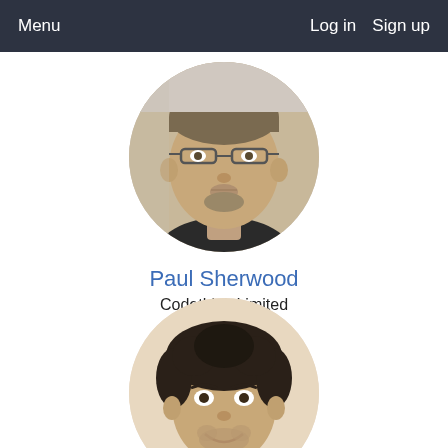Menu   Log in   Sign up
[Figure (photo): Circular profile photo of Paul Sherwood, a middle-aged man with glasses and light beard]
Paul Sherwood
Codethink Limited
Chairman
[Figure (photo): Circular profile photo of a young man with dark curly hair and a beard, smiling]